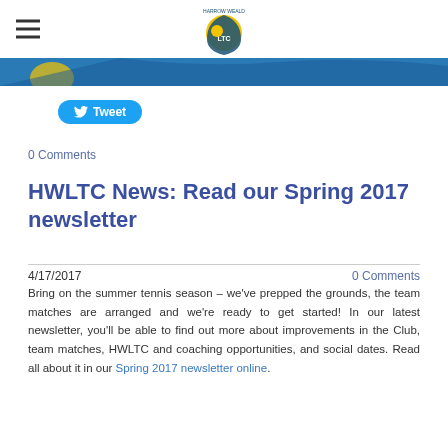Harrow Weald LTC
[Figure (other): Blue banner/photo strip]
[Figure (other): Tweet button with Twitter bird icon]
0 Comments
HWLTC News: Read our Spring 2017 newsletter
4/17/2017     0 Comments
Bring on the summer tennis season – we've prepped the grounds, the team matches are arranged and we're ready to get started! In our latest newsletter, you'll be able to find out more about improvements in the Club, team matches, HWLTC and coaching opportunities, and social dates. Read all about it in our Spring 2017 newsletter online.